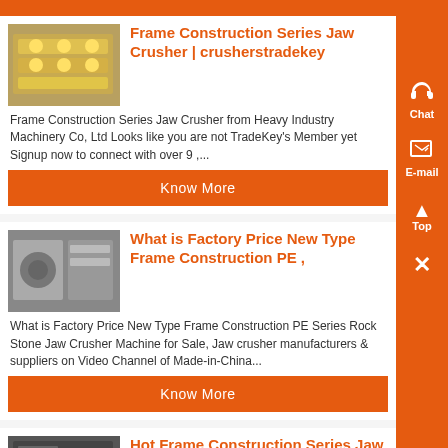Frame Construction Series Jaw Crusher | crusherstradekey
Frame Construction Series Jaw Crusher from Heavy Industry Machinery Co, Ltd Looks like you are not TradeKey's Member yet Signup now to connect with over 9 ,...
Know More
What is Factory Price New Type Frame Construction PE ,
What is Factory Price New Type Frame Construction PE Series Rock Stone Jaw Crusher Machine for Sale, Jaw crusher manufacturers & suppliers on Video Channel of Made-in-China...
Know More
Hot Frame Construction Series Jaw Crusher